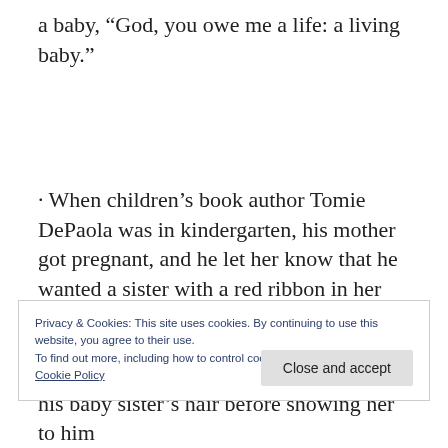a baby, “God, you owe me a life: a living baby.”
· When children’s book author Tomie DePaola was in kindergarten, his mother got pregnant, and he let her know that he wanted a sister with a red ribbon in her hair, although his mother told him that he wouldn’t know if he
Privacy & Cookies: This site uses cookies. By continuing to use this website, you agree to their use.
To find out more, including how to control cookies, see here: Cookie Policy
Close and accept
his baby sister’s hair before showing her to him